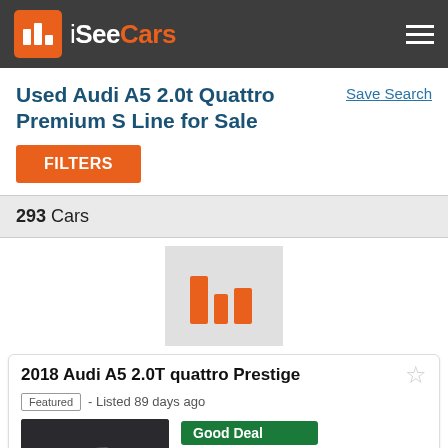iSeeCars
Used Audi A5 2.0t Quattro Premium S Line for Sale
Save Search
FILTERS
293 Cars
[Figure (logo): iSeeCars bar chart logo icon in orange and grey square]
2018 Audi A5 2.0T quattro Prestige
Featured - Listed 89 days ago
Good Deal
$2,111 Below Market
$46,999 $51,999